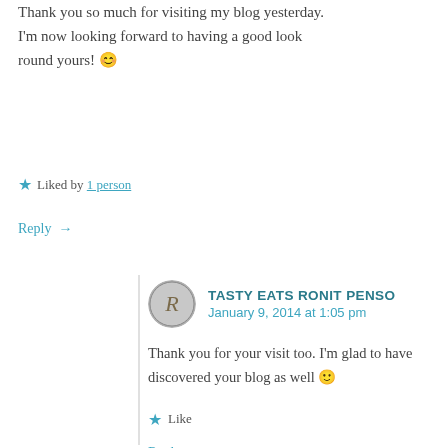Thank you so much for visiting my blog yesterday. I'm now looking forward to having a good look round yours! 😊
★ Liked by 1 person
Reply →
TASTY EATS RONIT PENSO
January 9, 2014 at 1:05 pm
Thank you for your visit too. I'm glad to have discovered your blog as well 🙂
★ Like
Reply →